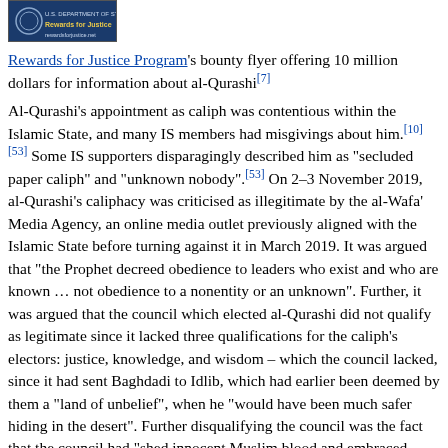[Figure (photo): Rewards for Justice Program logo/banner image (dark blue background)]
Rewards for Justice Program's bounty flyer offering 10 million dollars for information about al-Qurashi[7]
Al-Qurashi's appointment as caliph was contentious within the Islamic State, and many IS members had misgivings about him.[10][53] Some IS supporters disparagingly described him as "secluded paper caliph" and "unknown nobody".[53] On 2–3 November 2019, al-Qurashi's caliphacy was criticised as illegitimate by the al-Wafa' Media Agency, an online media outlet previously aligned with the Islamic State before turning against it in March 2019. It was argued that "the Prophet decreed obedience to leaders who exist and who are known … not obedience to a nonentity or an unknown". Further, it was argued that the council which elected al-Qurashi did not qualify as legitimate since it lacked three qualifications for the caliph's electors: justice, knowledge, and wisdom – which the council lacked, since it had sent Baghdadi to Idlib, which had earlier been deemed by them a "land of unbelief", when he "would have been much safer hiding in the desert". Further disqualifying the council was the fact that the council had "shed innocent Muslim blood and embraced extremism in the practice of excommunication" (takfir). As a final note, the al-Wafa' Media Agency stated that nothing was left for a would-be caliph to preside over – "You do not recognize that God has destroyed your [empire of your own construction]".[17] Arab dit...